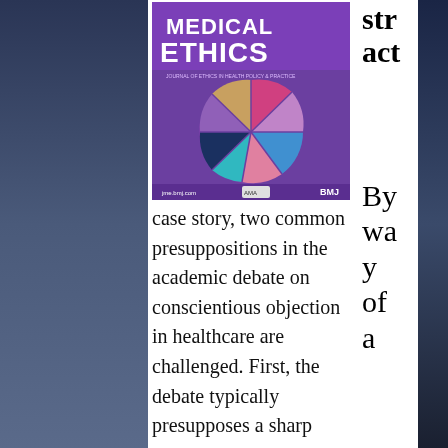[Figure (illustration): Cover of Journal of Medical Ethics showing a purple circular mosaic with medical imagery (hands, cells, embryo, DNA, brain scan). Published by BMJ. Text reads 'MEDICAL ETHICS'.]
str
act
By
wa
y
of
a
case story, two common presuppositions in the academic debate on conscientious objection in healthcare are challenged. First, the debate typically presupposes a sharp division between